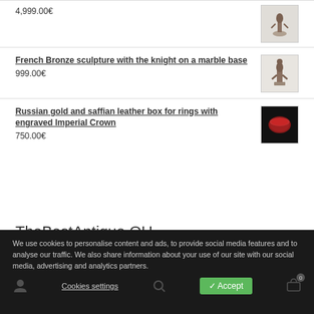4,999.00€
French Bronze sculpture with the knight on a marble base
999.00€
Russian gold and saffian leather box for rings with engraved Imperial Crown
750.00€
TheBestAntique OU
We use cookies to personalise content and ads, to provide social media features and to analyse our traffic. We also share information about your use of our site with our social media, advertising and analytics partners.
Cookies settings
Accept